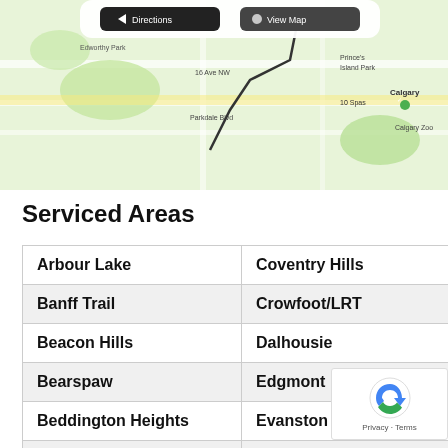[Figure (map): Google Maps screenshot showing Calgary area with street map, partially visible with roads, parks, and neighborhood labels including Parkdale Blvd, 16 Ave NW, Calgary, Calgary Zoo markers visible.]
Serviced Areas
| Arbour Lake | Coventry Hills | Macew... |
| Banff Trail | Crowfoot/LRT | Montg... |
| Beacon Hills | Dalhousie | Nolan... |
| Bearspaw | Edgmont | Panora... |
| Beddington Heights | Evanston |  |
| Bowness | Foothills Hospital |  |